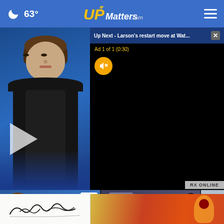63° UPMatters.com
[Figure (screenshot): Video player showing news anchor woman in black jacket, with 'Up Next - Larson's restart move at Wat...' overlay panel and ad overlay with mute button. Play button visible.]
Up Next - Larson's restart move at Wat...
Ad 1 of 1 (0:30)
RX ONLINE
[Figure (screenshot): Thumbnail row showing HealthWatch Buyer segment, AMC Regional Police segment, and partial third thumbnail. Banner advertisement with signature and colorful artwork overlay.]
HealthWatch: Buyer
AMC Regional Police
Back t